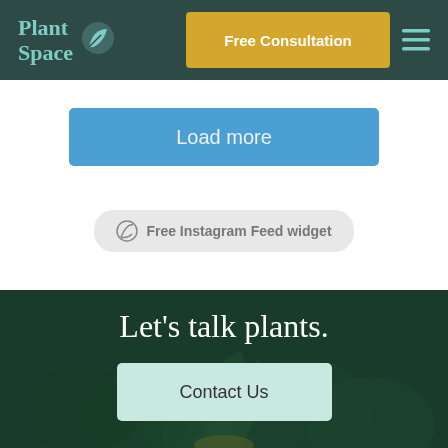Plant Space | Free Consultation
Load more
Free Instagram Feed widget
Let's talk plants.
Contact Us